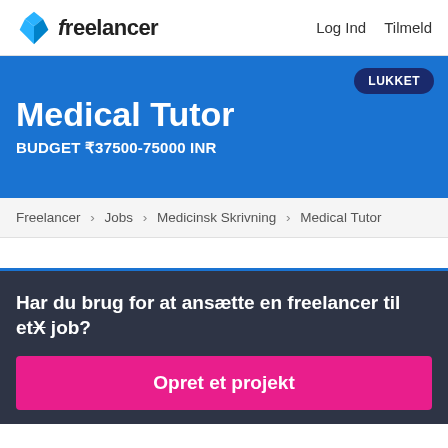freelancer   Log Ind  Tilmeld
Medical Tutor
BUDGET ₹37500-75000 INR
LUKKET
Freelancer › Jobs › Medicinsk Skrivning › Medical Tutor
Har du brug for at ansætte en freelancer til et job?
Opret et projekt